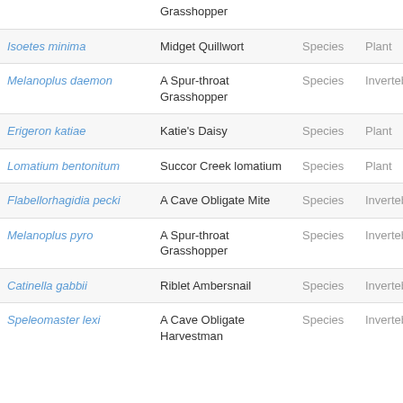| Scientific Name | Common Name | Rank | Type |
| --- | --- | --- | --- |
| (continued) Grasshopper |  |  |  |
| Isoetes minima | Midget Quillwort | Species | Plant |
| Melanoplus daemon | A Spur-throat Grasshopper | Species | Invertebrate |
| Erigeron katiae | Katie's Daisy | Species | Plant |
| Lomatium bentonitum | Succor Creek lomatium | Species | Plant |
| Flabellorhagidia pecki | A Cave Obligate Mite | Species | Invertebrate |
| Melanoplus pyro | A Spur-throat Grasshopper | Species | Invertebrate |
| Catinella gabbii | Riblet Ambersnail | Species | Invertebrate |
| Speleomaster lexi | A Cave Obligate Harvestman | Species | Invertebrate |